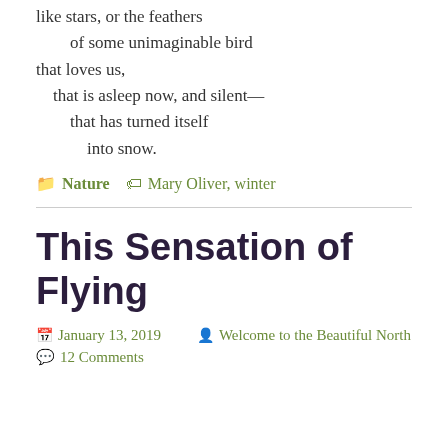like stars, or the feathers
        of some unimaginable bird
that loves us,
    that is asleep now, and silent—
        that has turned itself
            into snow.
Nature   Mary Oliver, winter
This Sensation of Flying
January 13, 2019   Welcome to the Beautiful North
12 Comments